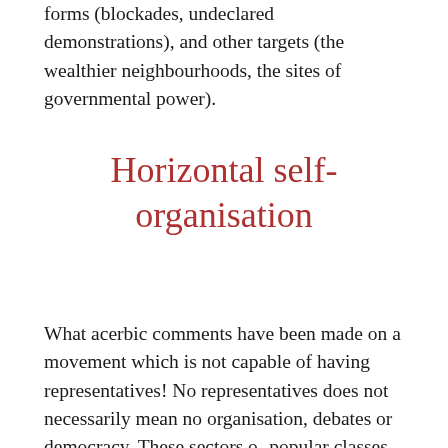forms (blockades, undeclared demonstrations), and other targets (the wealthier neighbourhoods, the sites of governmental power).
Horizontal self-organisation
What acerbic comments have been made on a movement which is not capable of having representatives! No representatives does not necessarily mean no organisation, debates or democracy. These sectors of popular classes have built collectives,